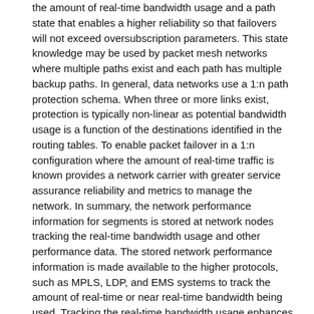the amount of real-time bandwidth usage and a path state that enables a higher reliability so that failovers will not exceed oversubscription parameters. This state knowledge may be used by packet mesh networks where multiple paths exist and each path has multiple backup paths. In general, data networks use a 1:n path protection schema. When three or more links exist, protection is typically non-linear as potential bandwidth usage is a function of the destinations identified in the routing tables. To enable packet failover in a 1:n configuration where the amount of real-time traffic is known provides a network carrier with greater service assurance reliability and metrics to manage the network. In summary, the network performance information for segments is stored at network nodes tracking the real-time bandwidth usage and other performance data. The stored network performance information is made available to the higher protocols, such as MPLS, LDP, and EMS systems to track the amount of real-time or near real-time bandwidth being used. Tracking the real-time bandwidth usage enhances network management for provisioning systems, failover protocols, traffic management analysis, and billing system utilization.